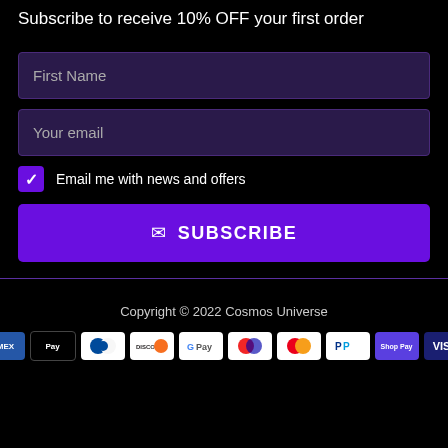Subscribe to receive 10% OFF your first order
First Name
Your email
Email me with news and offers
SUBSCRIBE
Copyright © 2022 Cosmos Universe
[Figure (other): Payment method icons: American Express, Apple Pay, Diners Club, Discover, Google Pay, Maestro, Mastercard, PayPal, Shop Pay, Visa]